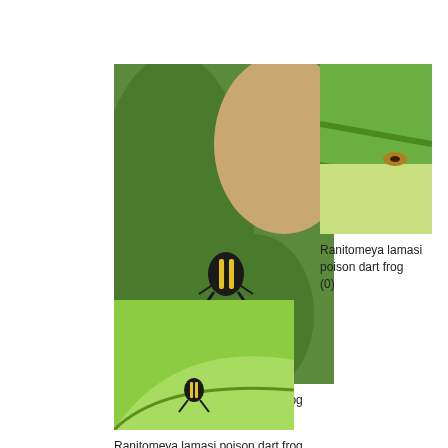[Figure (photo): Close-up photo of a Ranitomeya lamasi poison dart frog on a green leaf, showing black and yellow stripes]
Ranitomeya lamasi poison dart frog
(0)
[Figure (photo): Close-up photo of green leaves with a small Ranitomeya lamasi poison dart frog partially visible]
Ranitomeya lamasi poison dart frog
(0)
[Figure (photo): Photo of a Ranitomeya lamasi poison dart frog on a large curved green leaf]
Ranitomeya lamasi poison dart frog